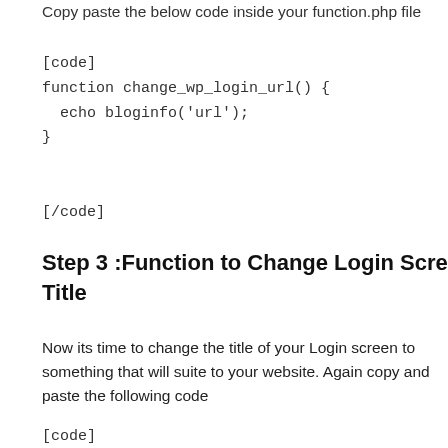Copy paste the below code inside your function.php file
[code]
function change_wp_login_url() {
echo bloginfo('url');
}

[/code]
Step 3 :Function to Change Login Screen Title
Now its time to change the title of your Login screen to something that will suite to your website. Again copy and paste the following code
[code]